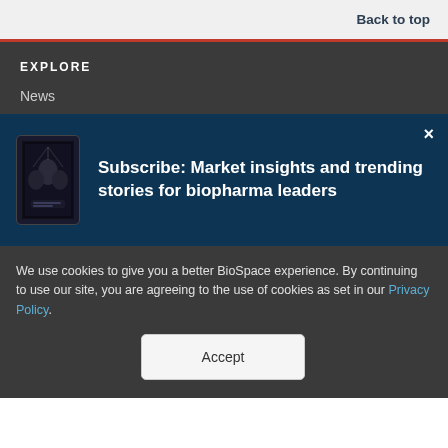Back to top
EXPLORE
News
[Figure (screenshot): Subscribe popup with phone image showing: Subscribe: Market insights and trending stories for biopharma leaders, with an X close button]
We use cookies to give you a better BioSpace experience. By continuing to use our site, you are agreeing to the use of cookies as set in our Privacy Policy.
Accept